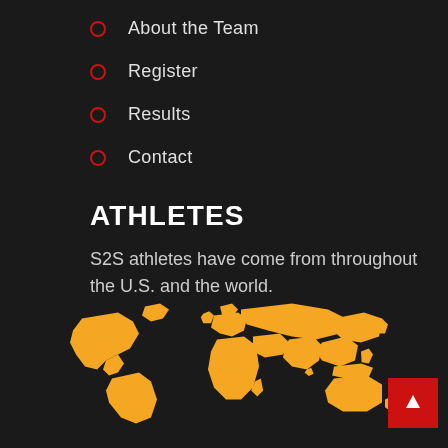About the Team
Register
Results
Contact
ATHLETES
S2S athletes have come from throughout the U.S. and the world.
[Figure (map): Orange world map showing countries highlighted in orange on dark background, representing locations of S2S athletes.]